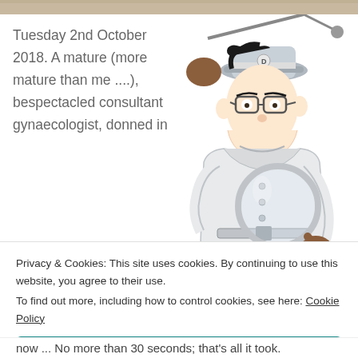[Figure (illustration): Cartoon illustration of Inspector Gadget character holding a magnifying glass, wearing a grey trench coat and hat, with one hand raised to his head]
Tuesday 2nd October 2018. A mature (more mature than me ....), bespectacled consultant gynaecologist, donned in
Privacy & Cookies: This site uses cookies. By continuing to use this website, you agree to their use.
To find out more, including how to control cookies, see here: Cookie Policy
Close and accept
now ... No more than 30 seconds; that's all it took.